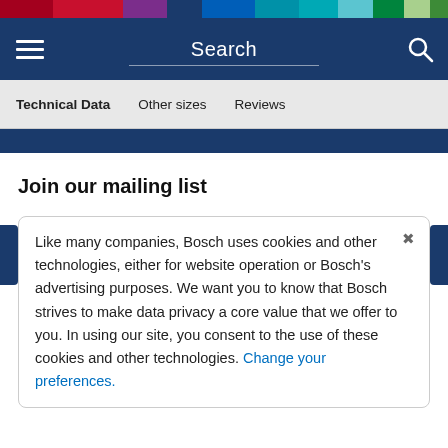[Figure (other): Colorful horizontal bar with multiple color segments at top of page]
Search
Technical Data   Other sizes   Reviews
Join our mailing list
Like many companies, Bosch uses cookies and other technologies, either for website operation or Bosch's advertising purposes. We want you to know that Bosch strives to make data privacy a core value that we offer to you. In using our site, you consent to the use of these cookies and other technologies. Change your preferences.